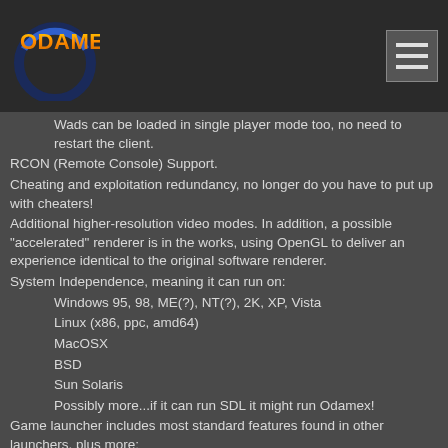Odamex
Wads can be loaded in single player mode too, no need to restart the client.
RCON (Remote Console) Support.
Cheating and exploitation redundancy, no longer do you have to put up with cheaters!
Additional higher-resolution video modes. In addition, a possible "accelerated" renderer is in the works, using OpenGL to deliver an experience identical to the original software renderer.
System Independence, meaning it can run on:
Windows 95, 98, ME(?), NT(?), 2K, XP, Vista
Linux (x86, ppc, amd64)
MacOSX
BSD
Sun Solaris
Possibly more...if it can run SDL it might run Odamex!
Game launcher includes most standard features found in other launchers, plus more:
Sorting capabilities.
Filtering capabilities (future addition)